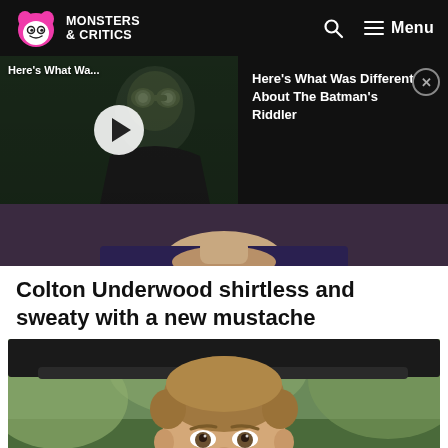[Figure (logo): Monsters & Critics logo with pink monster icon and white text on black background]
[Figure (screenshot): Video thumbnail showing The Batman's Riddler scene with play button overlay, labeled 'Here's What Wa...' with notification card showing 'Here's What Was Different About The Batman's Riddler']
[Figure (photo): Partial cropped photo showing lower face/chin of a person wearing a dark patterned shirt]
Colton Underwood shirtless and sweaty with a new mustache
[Figure (photo): Photo of Colton Underwood, a young man with short hair, light stubble, wearing a white t-shirt, outdoors with green foliage background]